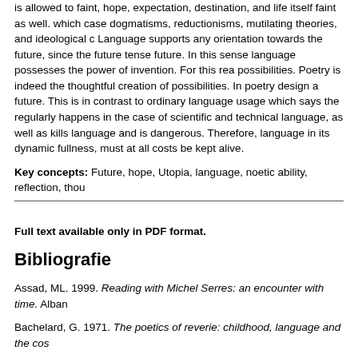is allowed to faint, hope, expectation, destination, and life itself faint as well. in which case dogmatisms, reductionisms, mutilating theories, and ideological c Language supports any orientation towards the future, since the future tense future. In this sense language possesses the power of invention. For this rea possibilities. Poetry is indeed the thoughtful creation of possibilities. In poetry design a future. This is in contrast to ordinary language usage which says the regularly happens in the case of scientific and technical language, as well as kills language and is dangerous. Therefore, language in its dynamic fullness, must at all costs be kept alive.
Key concepts: Future, hope, Utopia, language, noetic ability, reflection, thou
Full text available only in PDF format.
Bibliografie
Assad, ML. 1999. Reading with Michel Serres: an encounter with time. Alban
Bachelard, G. 1971. The poetics of reverie: childhood, language and the cos
Blanchot, M. 1993. The infinite conversation. Minneapolis: The University of M
Bloch, E. 1986. The principle of hope. Cambridge (Ma): The MIT Press.
Bourdieu, P. 1996. Understanding. Theory, culture and society, 13(2):17-37.
Bourdieu, P. 2001. Science de la science et réflexivité. Paris: Éditions Raison
De Beer, C.S. 1984. Tegniek, denke en toekoms. RSA 2000, 6:1-12.